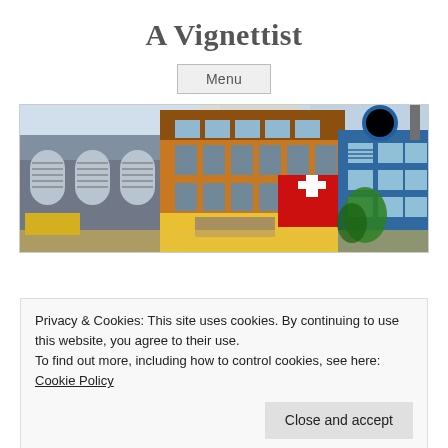A Vignettist
Menu
[Figure (illustration): Watercolor illustration of urban street buildings with arched windows, orange/brown facades, a Swiss red cross sign, and blue storefront. Colorful urban sketch style.]
Privacy & Cookies: This site uses cookies. By continuing to use this website, you agree to their use.
To find out more, including how to control cookies, see here: Cookie Policy
Close and accept
Back alleys of Gangnam